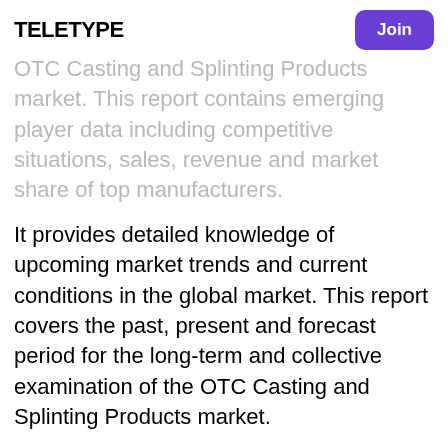teletype | Join
OTC Casting and Splinting Products market. This report contains emerging player data including competitive situations, sales, revenue and market share of top manufacturers.
It provides detailed knowledge of upcoming market trends and current conditions in the global market. This report covers the past, present and forecast period for the long-term and collective examination of the OTC Casting and Splinting Products market.
Get a Sample Copy of the Report at https://www.industryresearch.co/enquiry/request-sample/14813281
This report is the product of a comprehensive analysis of OTC Casting and Splinting Products market trends. This report studies the implications